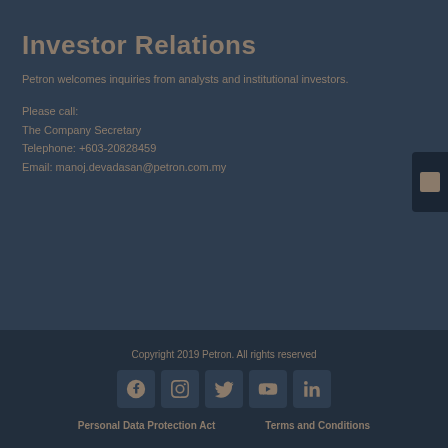Investor Relations
Petron welcomes inquiries from analysts and institutional investors.
Please call:
The Company Secretary
Telephone: +603-20828459
Email: manoj.devadasan@petron.com.my
Copyright 2019 Petron. All rights reserved
Personal Data Protection Act     Terms and Conditions